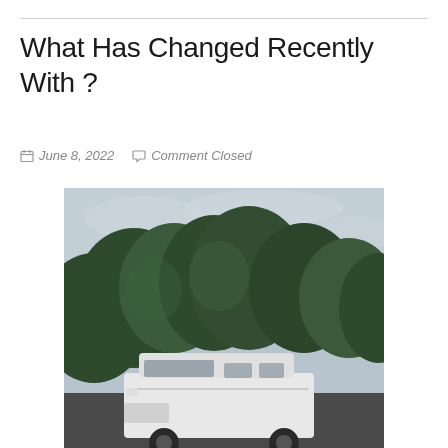What Has Changed Recently With ?
June 8, 2022   Comment Closed
[Figure (photo): A white camper van parked in front of dense green trees under a cloudy grey sky]